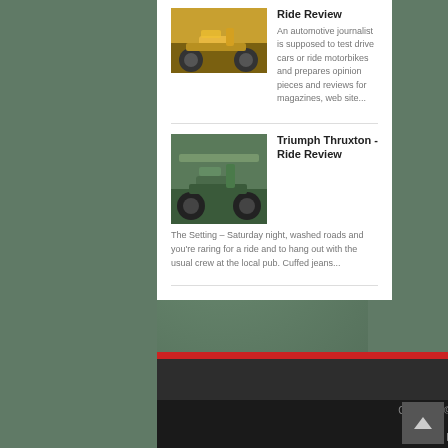Ride Review
An automotive journalist is supposed to test drive cars or ride motorbikes and prepares opinion pieces and reviews for magazines, web site...
Triumph Thruxton - Ride Review
The Setting – Saturday night, washed roads and you're raring for a ride and to hang out with the usual crew at the local pub. Cuffed jeans...
Copyright © 2016 ThrottleQuest All Right Reserved Shared by WpCoderX
Posts RSS • Comments RSS